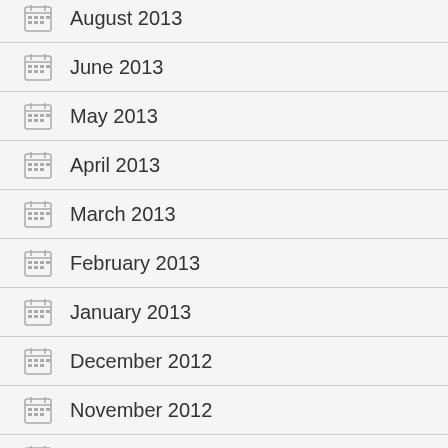August 2013
June 2013
May 2013
April 2013
March 2013
February 2013
January 2013
December 2012
November 2012
October 2012